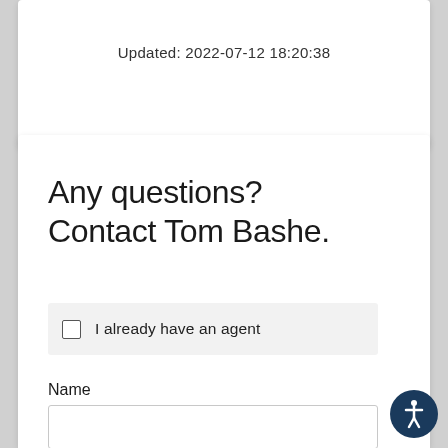Updated: 2022-07-12 18:20:38
Any questions? Contact Tom Bashe.
I already have an agent
Name
Email